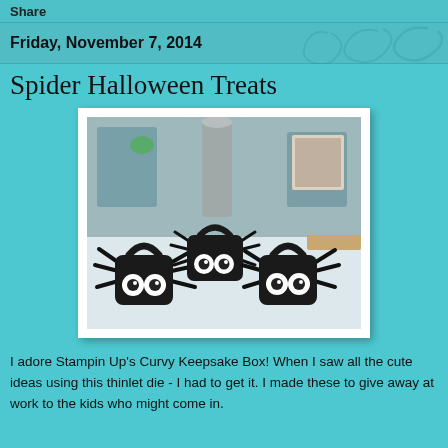Share
Friday, November 7, 2014
Spider Halloween Treats
[Figure (photo): Photo of three handmade black spider treat boxes (Stampin Up Curvy Keepsake Box) with googly eyes and paper legs, sitting on a white surface with a blurred craft room background.]
I adore Stampin Up's Curvy Keepsake Box!  When I saw all the cute ideas using this thinlet die - I had to get it.  I made these to give away at work to the kids who might come in.